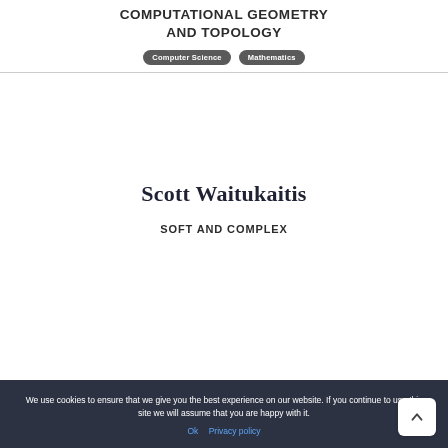COMPUTATIONAL GEOMETRY AND TOPOLOGY
Computer Science | Mathematics
Scott Waitukaitis
SOFT AND COMPLEX
We use cookies to ensure that we give you the best experience on our website. If you continue to use this site we will assume that you are happy with it.
Ok  Privacy policy